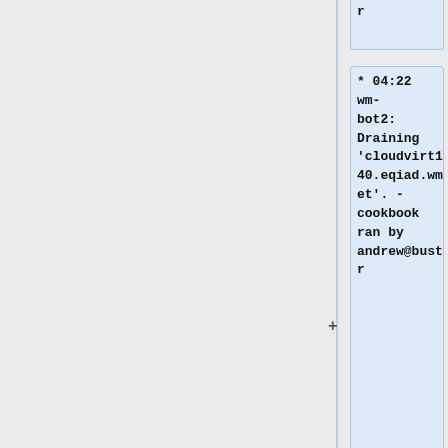r
* 04:22 wm-bot2: Draining 'cloudvirt1040.eqiad.wmnet'. - cookbook ran by andrew@buster
* 04:22 wm-bot2: Safe rebooting 'cloudvirt1040.eqiad.wmnet'. - cookbook ran by andrew@buste